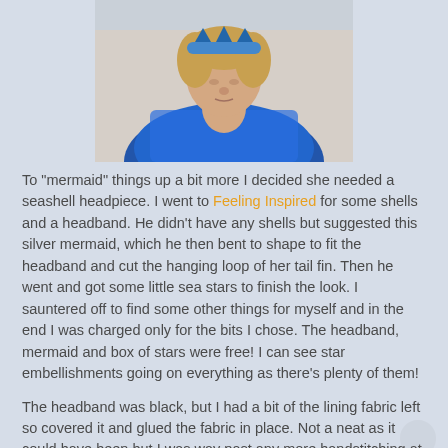[Figure (photo): A young child with blonde hair wearing a blue sequin outfit and a blue headband/crown, looking down. Photo taken against a neutral beige background.]
To "mermaid" things up a bit more I decided she needed a seashell headpiece. I went to Feeling Inspired for some shells and a headband. He didn't have any shells but suggested this silver mermaid, which he then bent to shape to fit the headband and cut the hanging loop of her tail fin. Then he went and got some little sea stars to finish the look. I sauntered off to find some other things for myself and in the end I was charged only for the bits I chose. The headband, mermaid and box of stars were free! I can see star embellishments going on everything as there's plenty of them!
The headband was black, but I had a bit of the lining fabric left so covered it and glued the fabric in place. Not a neat as it could have been but I was way past any more handstitching at this point.